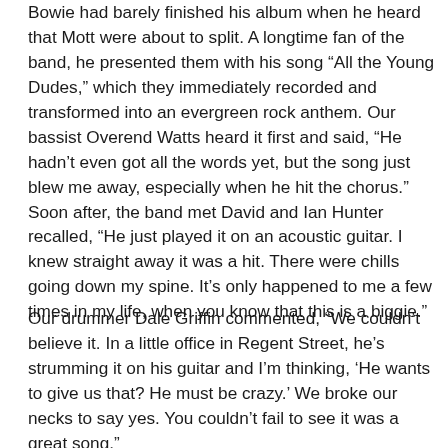Bowie had barely finished his album when he heard that Mott were about to split. A longtime fan of the band, he presented them with his song “All the Young Dudes,” which they immediately recorded and transformed into an evergreen rock anthem. Our bassist Overend Watts heard it first and said, “He hadn’t even got all the words yet, but the song just blew me away, especially when he hit the chorus.” Soon after, the band met David and Ian Hunter recalled, “He just played it on an acoustic guitar. I knew straight away it was a hit. There were chills going down my spine. It’s only happened to me a few times in my life, when you know that this is a biggie.”
Our drummer Dale Griffin commented, “We couldn’t believe it. In a little office in Regent Street, he’s strumming it on his guitar and I’m thinking, ‘He wants to give us that? He must be crazy.’ We broke our necks to say yes. You couldn’t fail to see it was a great song.”